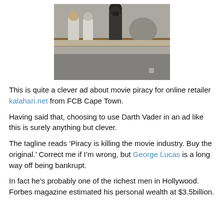[Figure (photo): A scene showing people in a kitchen or counter area, with one figure dressed in a dark Darth Vader-style costume, set in a muted, desaturated photographic style.]
This is quite a clever ad about movie piracy for online retailer kalahari.net from FCB Cape Town.
Having said that, choosing to use Darth Vader in an ad like this is surely anything but clever.
The tagline reads ‘Piracy is killing the movie industry. Buy the original.’ Correct me if I’m wrong, but George Lucas is a long way off being bankrupt.
In fact he’s probably one of the richest men in Hollywood. Forbes magazine estimated his personal wealth at $3.5billion.